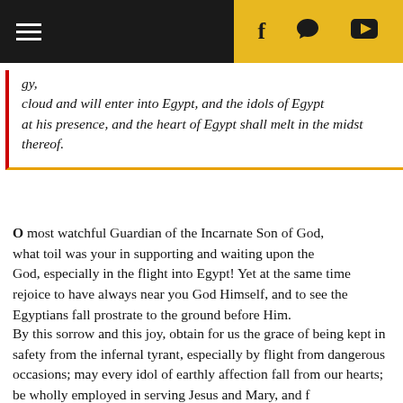[Figure (screenshot): Top navigation bar with black left section showing hamburger menu icon and gold/yellow right section showing social media icons (Facebook f, chat bubble, YouTube play button)]
gy, cloud and will enter into Egypt, and the idols of Egypt shall be moved at his presence, and the heart of Egypt shall melt in the midst thereof.
O most watchful Guardian of the Incarnate Son of God, what toil was your in supporting and waiting upon the Son of God, especially in the flight into Egypt! Yet at the same time rejoice to have always near you God Himself, and to see the Egyptians fall prostrate to the ground before Him.
By this sorrow and this joy, obtain for us the grace of being kept in safety from the infernal tyrant, especially by flight from dangerous occasions; may every idol of earthly affection fall from our hearts; be wholly employed in serving Jesus and Mary, and f